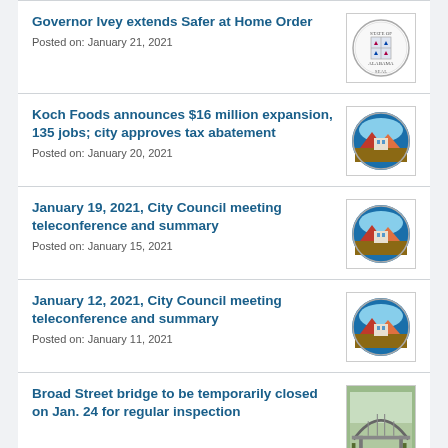Governor Ivey extends Safer at Home Order
Posted on: January 21, 2021
Koch Foods announces $16 million expansion, 135 jobs; city approves tax abatement
Posted on: January 20, 2021
January 19, 2021, City Council meeting teleconference and summary
Posted on: January 15, 2021
January 12, 2021, City Council meeting teleconference and summary
Posted on: January 11, 2021
Broad Street bridge to be temporarily closed on Jan. 24 for regular inspection